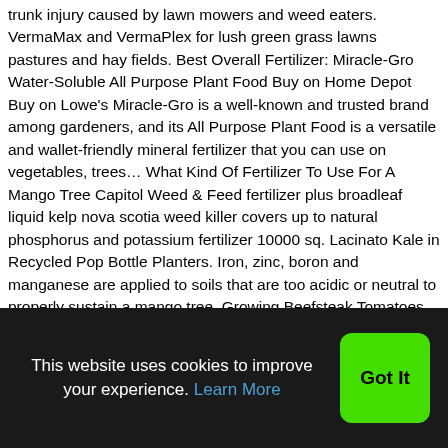trunk injury caused by lawn mowers and weed eaters. VermaMax and VermaPlex for lush green grass lawns pastures and hay fields. Best Overall Fertilizer: Miracle-Gro Water-Soluble All Purpose Plant Food Buy on Home Depot Buy on Lowe's Miracle-Gro is a well-known and trusted brand among gardeners, and its All Purpose Plant Food is a versatile and wallet-friendly mineral fertilizer that you can use on vegetables, trees… What Kind Of Fertilizer To Use For A Mango Tree Capitol Weed & Feed fertilizer plus broadleaf liquid kelp nova scotia weed killer covers up to natural phosphorus and potassium fertilizer 10000 sq. Lacinato Kale in Recycled Pop Bottle Planters. Iron, zinc, boron and manganese are applied to soils that are too acidic or neutral to properly sustain a mango tree. Growing Beefsteak Tomatoes From Seed Indoors bonemeal is a good source of phosphorus and kelp or greensand are organic sources of potassium. Mar 4, 2019 Benefits: First of all since the mango tree produces mangoes
This website uses cookies to improve your experience. Learn More
Got It